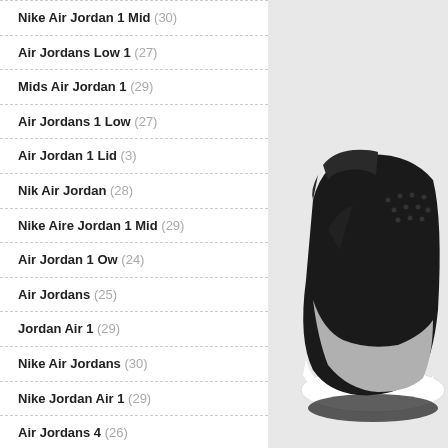Nike Air Jordan 1 Mid (30)
Air Jordans Low 1 (27)
Mids Air Jordan 1 (29)
Air Jordans 1 Low (27)
Air Jordan 1 Lid (3)
Nik Air Jordan (28)
Nike Aire Jordan 1 Mid (29)
Air Jordan 1 Ow (24)
Air Jordans (25)
Jordan Air 1 (29)
Nike Air Jordans (30)
Nike Jordan Air 1 (29)
Air Jordans 4 (26)
Air Jordans Mid 1 (29)
Nike Air Jordans 1 Mid (28)
[Figure (photo): Nike Air Jordan 1 sneaker photo showing black upper with grey/white sole, viewed from the side/top angle]